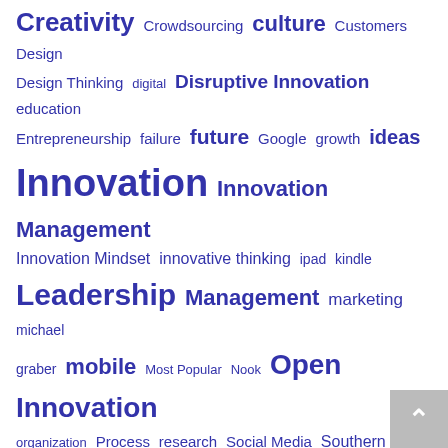[Figure (infographic): Tag cloud with various innovation and business-related terms in blue text at different font sizes indicating frequency/importance. Terms include: Creativity, Crowdsourcing, culture, Customers, Design, Design Thinking, digital, Disruptive Innovation, education, Entrepreneurship, failure, future, Google, growth, ideas, Innovation, Innovation Management, Innovation Mindset, innovative thinking, ipad, kindle, Leadership, Management, marketing, michael graber, mobile, Most Popular, Nook, Open Innovation, organization, Process, research, Social Media, Southern Growth Studio, startups, Strategy, success, tablets, technology, Top 20, Trends]
LATEST BLOGS
[Figure (photo): Partial image of a logo on dark blue background with colorful curved graphic elements in teal, green, and magenta/pink colors]